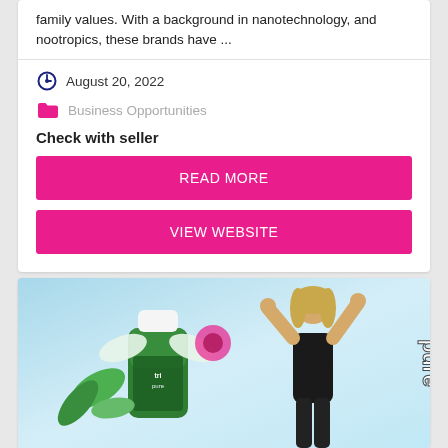family values. With a background in nanotechnology, and nootropics, these brands have ...
August 20, 2022
Business Opportunities
Check with seller
READ MORE
VIEW WEBSITE
[Figure (photo): Product advertisement image showing a supplement bottle branded 'tripure' with green leaves and wings, alongside a blonde woman in a black outfit. Text 'pure' visible on the right side.]